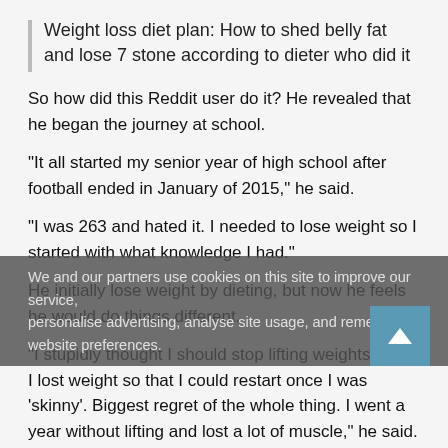Weight loss diet plan: How to shed belly fat and lose 7 stone according to dieter who did it
So how did this Reddit user do it? He revealed that he began the journey at school.
"It all started my senior year of high school after football ended in January of 2015," he said.
"I was 263 and hated it. I needed to lose weight so I started with what knowledge I had."
He initially lose weight by dieting, but now he feels he would do things different.
"I stupidly thought I should stop lifting weights while I lost weight so that I could restart once I was 'skinny'. Biggest regret of the whole thing. I went a year without lifting and lost a lot of muscle," he said.
It was when he began lifting weights that he saw the biggest change in his physique.
D-Rob67 said: "I started lifting lightly in 2016 but never made much progress until Spring of 2017 when I really started to lift hard.